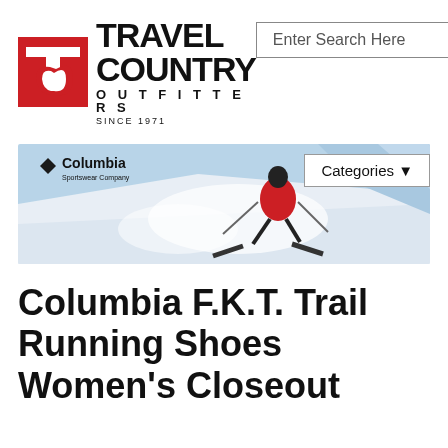[Figure (logo): Travel Country Outfitters logo with red TC icon and text 'TRAVEL COUNTRY OUTFITTERS SINCE 1971']
Enter Search Here
[Figure (photo): Columbia Sportswear Company banner showing a skier in red jacket descending a snowy mountain slope, with Columbia logo on the left and a Categories dropdown button on the right]
Columbia F.K.T. Trail Running Shoes Women's Closeout